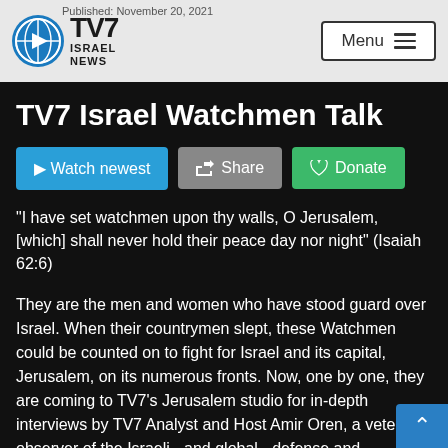TV7 Israel News — Published: November 20, 2021
TV7 Israel Watchmen Talk
Watch newest | Share | Donate
“I have set watchmen upon thy walls, O Jerusalem, [which] shall never hold their peace day nor night” (Isaiah 62:6)
They are the men and women who have stood guard over Israel. When their countrymen slept, these Watchmen could be counted on to fight for Israel and its capital, Jerusalem, on its numerous fronts. Now, one by one, they are coming to TV7’s Jerusalem studio for in-depth interviews by TV7 Analyst and Host Amir Oren, a veteran observer of the Israeli - and global - defense and government scenes. They will share their stories, insights and some revelations in a way sure to enlighten our